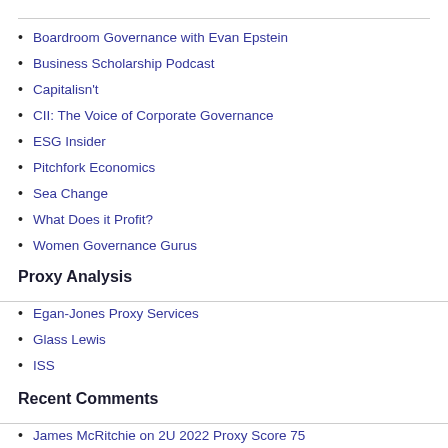Boardroom Governance with Evan Epstein
Business Scholarship Podcast
Capitalisn't
CII: The Voice of Corporate Governance
ESG Insider
Pitchfork Economics
Sea Change
What Does it Profit?
Women Governance Gurus
Proxy Analysis
Egan-Jones Proxy Services
Glass Lewis
ISS
Recent Comments
James McRitchie on 2U 2022 Proxy Score 75